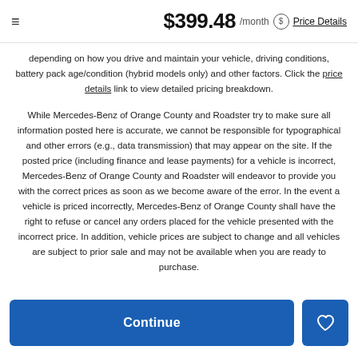≡  $399.48 /month  $ Price Details
depending on how you drive and maintain your vehicle, driving conditions, battery pack age/condition (hybrid models only) and other factors. Click the price details link to view detailed pricing breakdown.
While Mercedes-Benz of Orange County and Roadster try to make sure all information posted here is accurate, we cannot be responsible for typographical and other errors (e.g., data transmission) that may appear on the site. If the posted price (including finance and lease payments) for a vehicle is incorrect, Mercedes-Benz of Orange County and Roadster will endeavor to provide you with the correct prices as soon as we become aware of the error. In the event a vehicle is priced incorrectly, Mercedes-Benz of Orange County shall have the right to refuse or cancel any orders placed for the vehicle presented with the incorrect price. In addition, vehicle prices are subject to change and all vehicles are subject to prior sale and may not be available when you are ready to purchase.
Continue